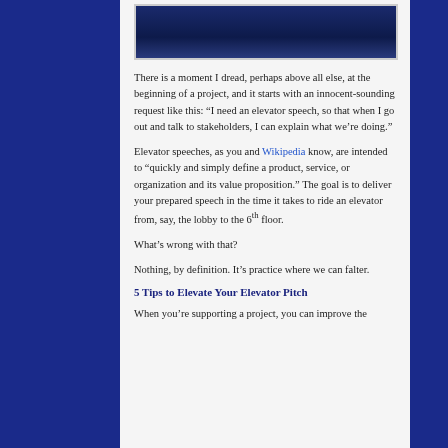[Figure (photo): Dark blue abstract background image, partially visible at top of content column]
There is a moment I dread, perhaps above all else, at the beginning of a project, and it starts with an innocent-sounding request like this: “I need an elevator speech, so that when I go out and talk to stakeholders, I can explain what we’re doing.”
Elevator speeches, as you and Wikipedia know, are intended to “quickly and simply define a product, service, or organization and its value proposition.” The goal is to deliver your prepared speech in the time it takes to ride an elevator from, say, the lobby to the 6th floor.
What’s wrong with that?
Nothing, by definition. It’s practice where we can falter.
5 Tips to Elevate Your Elevator Pitch
When you’re supporting a project, you can improve the